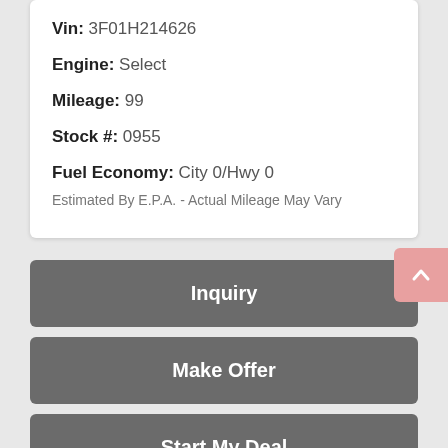Vin: 3F01H214626
Engine: Select
Mileage: 99
Stock #: 0955
Fuel Economy: City 0/Hwy 0
Estimated By E.P.A. - Actual Mileage May Vary
Inquiry
Make Offer
Start My Deal
Text Us